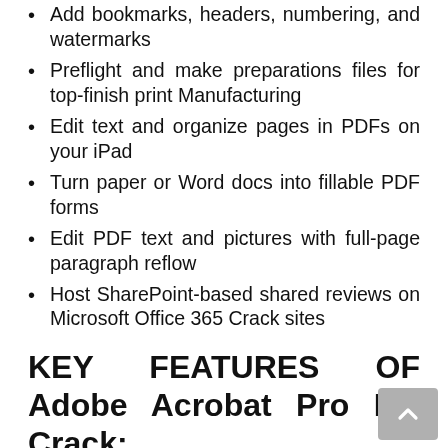Add bookmarks, headers, numbering, and watermarks
Preflight and make preparations files for top-finish print Manufacturing
Edit text and organize pages in PDFs on your iPad
Turn paper or Word docs into fillable PDF forms
Edit PDF text and pictures with full-page paragraph reflow
Host SharePoint-based shared reviews on Microsoft Office 365 Crack sites
KEY FEATURES OF Adobe Acrobat Pro DC Crack:
Compare two versions of the document to determine what's altered